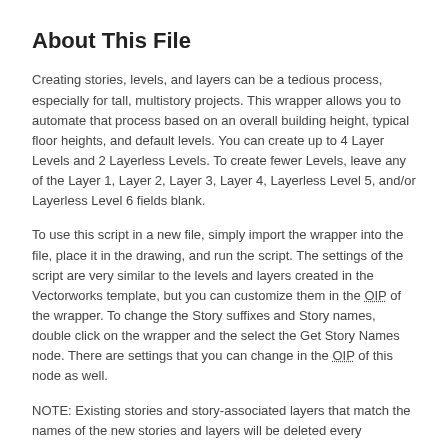About This File
Creating stories, levels, and layers can be a tedious process, especially for tall, multistory projects. This wrapper allows you to automate that process based on an overall building height, typical floor heights, and default levels. You can create up to 4 Layer Levels and 2 Layerless Levels. To create fewer Levels, leave any of the Layer 1, Layer 2, Layer 3, Layer 4, Layerless Level 5, and/or Layerless Level 6 fields blank.
To use this script in a new file, simply import the wrapper into the file, place it in the drawing, and run the script. The settings of the script are very similar to the levels and layers created in the Vectorworks template, but you can customize them in the OIP of the wrapper. To change the Story suffixes and Story names, double click on the wrapper and the select the Get Story Names node. There are settings that you can change in the OIP of this node as well.
NOTE: Existing stories and story-associated layers that match the names of the new stories and layers will be deleted every